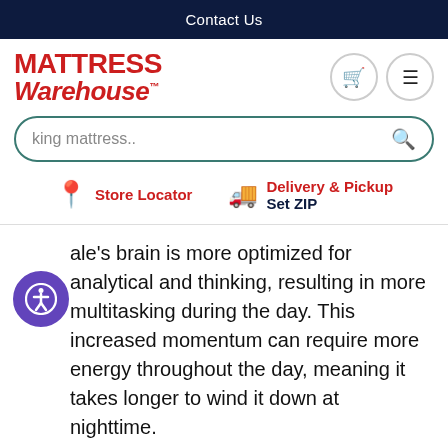Contact Us
[Figure (logo): Mattress Warehouse logo in red bold italic text]
ale's brain is more optimized for analytical and thinking, resulting in more multitasking during the day. This increased momentum can require more energy throughout the day, meaning it takes longer to wind it down at nighttime.
But how much more sleep do women need than men? The same UK study showed that only 20 extra minutes on average is needed.